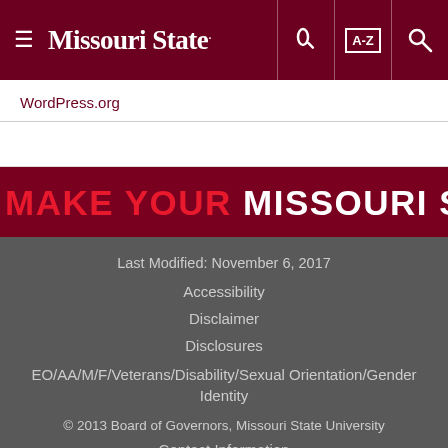Missouri State — navigation header with hamburger menu, key icon, A-Z index, and search icon
WordPress.org
[Figure (infographic): Red banner with text: MAKE YOUR MISSOURI STATEMENT]
Last Modified: November 6, 2017
Accessibility
Disclaimer
Disclosures
EO/AA/M/F/Veterans/Disability/Sexual Orientation/Gender Identity
© 2013 Board of Governors, Missouri State University
Contact Information